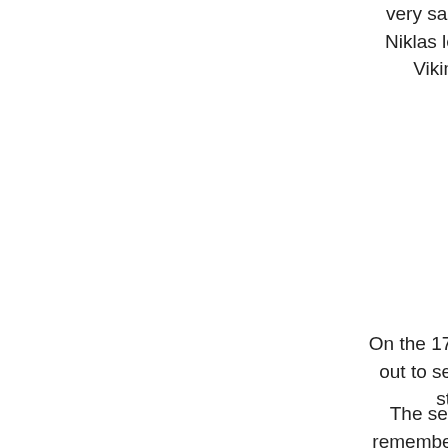very sadly went to h Niklas left us behind Viking land of
On the 17th of July, w out to sea again aft storm
The sea was rou remember) and we d shark... one crazy